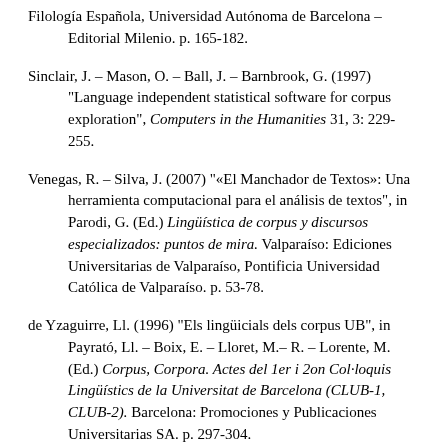Filología Española, Universidad Autónoma de Barcelona – Editorial Milenio. p. 165-182.
Sinclair, J. – Mason, O. – Ball, J. – Barnbrook, G. (1997) "Language independent statistical software for corpus exploration", Computers in the Humanities 31, 3: 229-255.
Venegas, R. – Silva, J. (2007) "«El Manchador de Textos»: Una herramienta computacional para el análisis de textos", in Parodi, G. (Ed.) Lingüística de corpus y discursos especializados: puntos de mira. Valparaíso: Ediciones Universitarias de Valparaíso, Pontificia Universidad Católica de Valparaíso. p. 53-78.
de Yzaguirre, Ll. (1996) "Els lingüicials dels corpus UB", in Payrató, Ll. – Boix, E. – Lloret, M.– R. – Lorente, M. (Ed.) Corpus, Corpora. Actes del 1er i 2on Col·loquis Lingüístics de la Universitat de Barcelona (CLUB-1, CLUB-2). Barcelona: Promociones y Publicaciones Universitarias SA. p. 297-304.